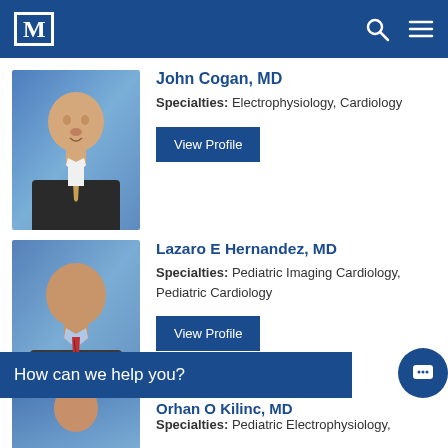M (Mayo Clinic logo) — navigation header with search and menu icons
[Figure (photo): Professional headshot of Dr. John Cogan, MD wearing dark suit and gold tie against blue background]
John Cogan, MD
Specialties: Electrophysiology, Cardiology
View Profile
[Figure (photo): Professional headshot of Dr. Lazaro E Hernandez, MD wearing dark suit and red striped tie against blue background]
Lazaro E Hernandez, MD
Specialties: Pediatric Imaging Cardiology, Pediatric Cardiology
View Profile
How can we help you?
[Figure (photo): Partial headshot of Dr. Orhan O Kilinc, MD]
Orhan O Kilinc, MD
Specialties: Pediatric Electrophysiology,